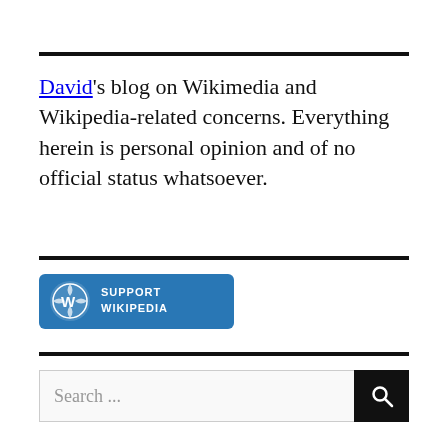David's blog on Wikimedia and Wikipedia-related concerns. Everything herein is personal opinion and of no official status whatsoever.
[Figure (logo): Support Wikipedia badge — blue rectangular badge with Wikipedia puzzle globe icon and text 'SUPPORT WIKIPEDIA']
Search ...